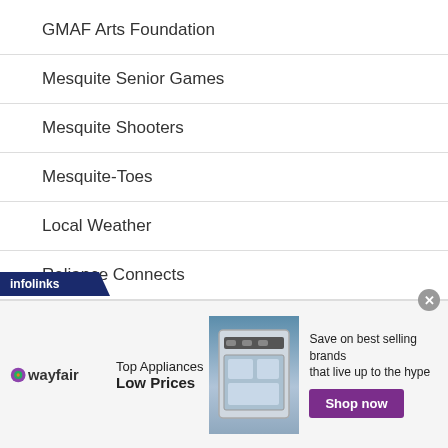GMAF Arts Foundation
Mesquite Senior Games
Mesquite Shooters
Mesquite-Toes
Local Weather
Reliance Connects
VVAA Artists
[Figure (infographic): Wayfair advertisement banner: 'Top Appliances Low Prices' with appliance image, 'Save on best selling brands that live up to the hype' and 'Shop now' button in purple. Infolinks label bar at top left.]